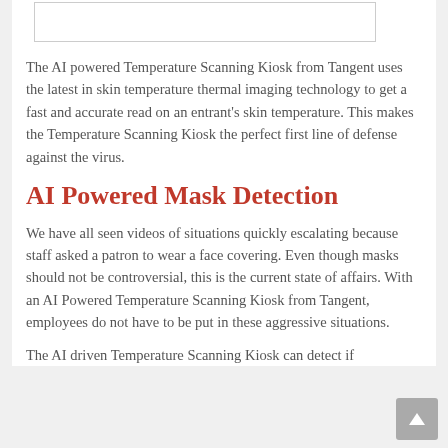[Figure (other): White rectangle placeholder image at top of content area]
The AI powered Temperature Scanning Kiosk from Tangent uses the latest in skin temperature thermal imaging technology to get a fast and accurate read on an entrant’s skin temperature. This makes the Temperature Scanning Kiosk the perfect first line of defense against the virus.
AI Powered Mask Detection
We have all seen videos of situations quickly escalating because staff asked a patron to wear a face covering. Even though masks should not be controversial, this is the current state of affairs. With an AI Powered Temperature Scanning Kiosk from Tangent, employees do not have to be put in these aggressive situations.
The AI driven Temperature Scanning Kiosk can detect if